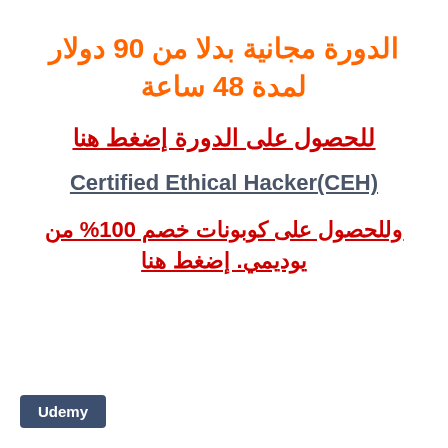الدورة مجانية بدلا من 90 دولار لمدة 48 ساعة
للحصول على الدورة إضغط هنا
Certified Ethical Hacker(CEH)
وللحصول على كوبونات خصم 100% من يوديمي. إضغط هنا
[Figure (logo): Udemy badge/logo button in dark blue]